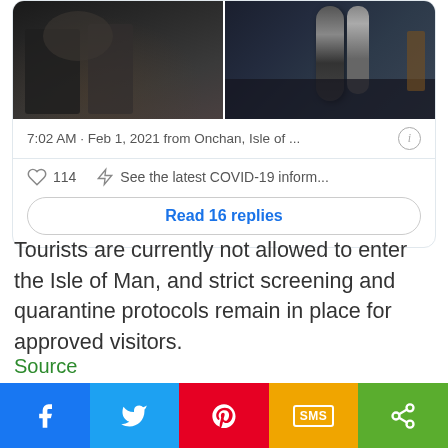[Figure (photo): Two side-by-side photos: left shows people in a bar/pub setting, right shows bar taps and equipment]
7:02 AM · Feb 1, 2021 from Onchan, Isle of ...
114  See the latest COVID-19 inform...
Read 16 replies
Tourists are currently not allowed to enter the Isle of Man, and strict screening and quarantine protocols remain in place for approved visitors.
Source
Follow us: